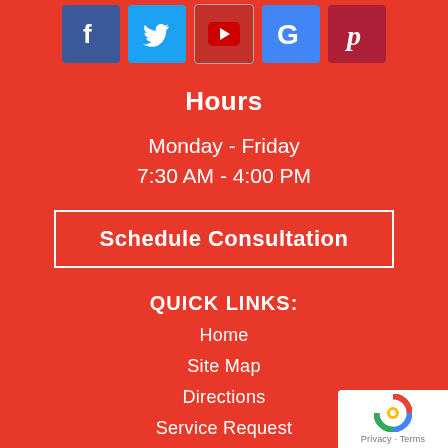[Figure (illustration): Row of 5 social media icons: Facebook (blue), Twitter (light blue), YouTube (red/dark), Google (blue), Pinterest (dark red)]
Hours
Monday - Friday
7:30 AM - 4:00 PM
Schedule Consultation
QUICK LINKS:
Home
Site Map
Directions
Service Request
Replacement Parts
[Figure (logo): Google reCAPTCHA badge with Privacy and Terms links]